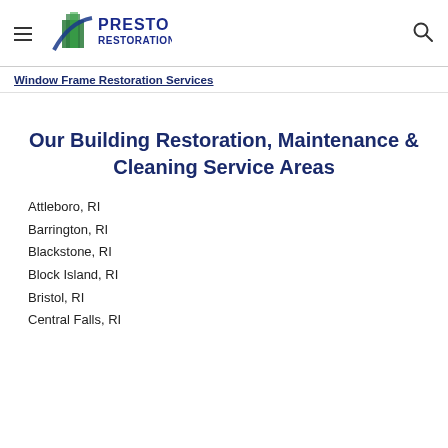Presto Restoration
Window Frame Restoration Services
Our Building Restoration, Maintenance & Cleaning Service Areas
Attleboro, RI
Barrington, RI
Blackstone, RI
Block Island, RI
Bristol, RI
Central Falls, RI